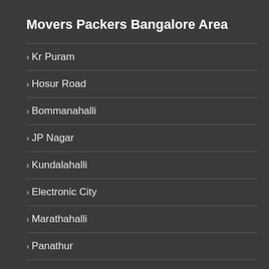Movers Packers Bangalore Area
Kr Puram
Hosur Road
Bommanahalli
JP Nagar
Kundalahalli
Electronic City
Marathahalli
Panathur
Attibele